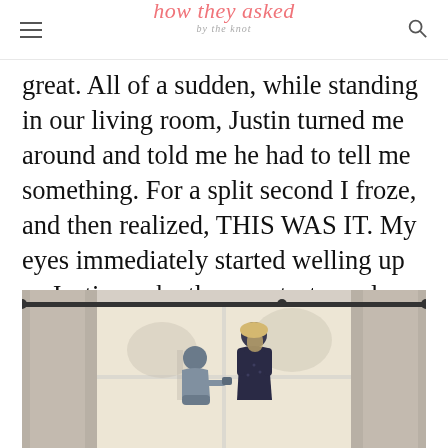how they asked by the knot
great. All of a sudden, while standing in our living room, Justin turned me around and told me he had to tell me something. For a split second I froze, and then realized, THIS WAS IT. My eyes immediately started welling up as Justin spoke the sweetest words. Luckily I broke the tension by threatening him that this proposal better not be a joke! Luckily it wasn't.
[Figure (photo): A man on one knee proposing to a woman in a living room in front of a large window with curtains, woman covering her face with her hands, both silhouetted against bright window light]